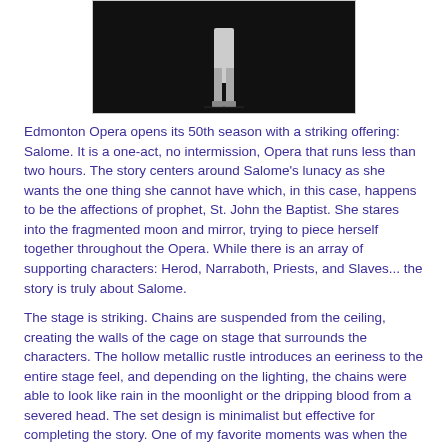[Figure (photo): Black and white photo of a person standing on a stage, lit from above, against a dark background. Cropped to show only the lower body and legs.]
Edmonton Opera opens its 50th season with a striking offering: Salome. It is a one-act, no intermission, Opera that runs less than two hours. The story centers around Salome's lunacy as she wants the one thing she cannot have which, in this case, happens to be the affections of prophet, St. John the Baptist. She stares into the fragmented moon and mirror, trying to piece herself together throughout the Opera. While there is an array of supporting characters: Herod, Narraboth, Priests, and Slaves... the story is truly about Salome.
The stage is striking. Chains are suspended from the ceiling, creating the walls of the cage on stage that surrounds the characters. The hollow metallic rustle introduces an eeriness to the entire stage feel, and depending on the lighting, the chains were able to look like rain in the moonlight or the dripping blood from a severed head. The set design is minimalist but effective for completing the story. One of my favorite moments was when the suspension of red fabric was